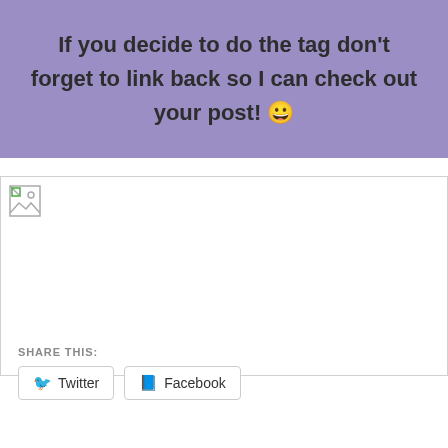If you decide to do the tag don't forget to link back so I can check out your post! 😀
[Figure (photo): Broken/missing image placeholder below the purple text box]
SHARE THIS:
Twitter   Facebook